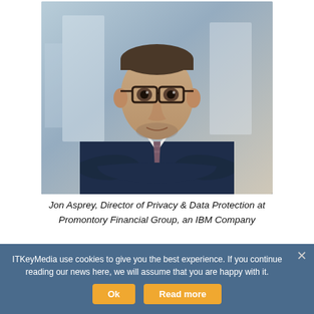[Figure (photo): Professional headshot of Jon Asprey, a man in a dark navy suit with a patterned tie and glasses, arms crossed, blurred office background]
Jon Asprey, Director of Privacy & Data Protection at Promontory Financial Group, an IBM Company
ITKeyMedia use cookies to give you the best experience. If you continue reading our news here, we will assume that you are happy with it.